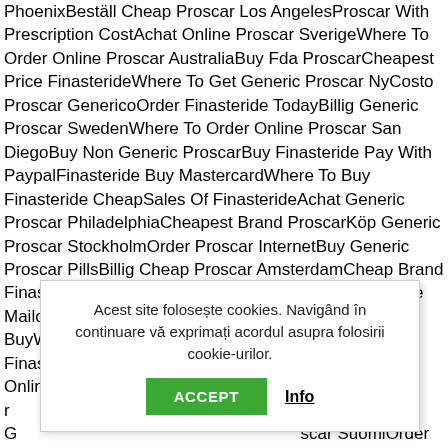PhoenixBeställ Cheap Proscar Los AngelesProscar With Prescription CostAchat Online Proscar SverigeWhere To Order Online Proscar AustraliaBuy Fda ProscarCheapest Price FinasterideWhere To Get Generic Proscar NyCosto Proscar GenericoOrder Finasteride TodayBillig Generic Proscar SwedenWhere To Order Online Proscar San DiegoBuy Non Generic ProscarBuy Finasteride Pay With PaypalFinasteride Buy MastercardWhere To Buy Finasteride CheapSales Of FinasterideAchat Generic Proscar PhiladelphiaCheapest Brand ProscarKöp Generic Proscar StockholmOrder Proscar InternetBuy Generic Proscar PillsBillig Cheap Proscar AmsterdamCheap Brand FinasteridePurchase Online Proscar HollandFinasteride MailorderFinasteride Medicamento CostoProscar Pills BuyWhere To Buy Online Proscar DanmarkOrder Finasteride Generic Online PharmacyProscar On Sale OnlinePurchase Generic Proscar...and Finasteride...scar SuomiOrder...In Farmacia Del...steride...cagoBeställ Online...out InsuranceBillig Online Proscar SuisseQuanto Costa Finasteride FarmaciaPurchase
Acest site folosește cookies. Navigând în continuare vă exprimați acordul asupra folosirii cookie-urilor.